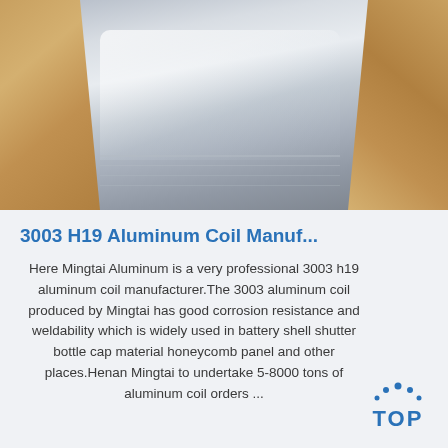[Figure (photo): Aluminum coil rolled sheet with brown paper wrapping on both sides and green fabric visible in upper right corner. The aluminum surface shows a reflective metallic finish.]
3003 H19 Aluminum Coil Manuf...
Here Mingtai Aluminum is a very professional 3003 h19 aluminum coil manufacturer.The 3003 aluminum coil produced by Mingtai has good corrosion resistance and weldability which is widely used in battery shell shutter bottle cap material honeycomb panel and other places.Henan Mingtai to undertake 5-8000 tons of aluminum coil orders ...
[Figure (logo): TOP logo with blue dots arranged in arc above the word TOP in blue bold letters]